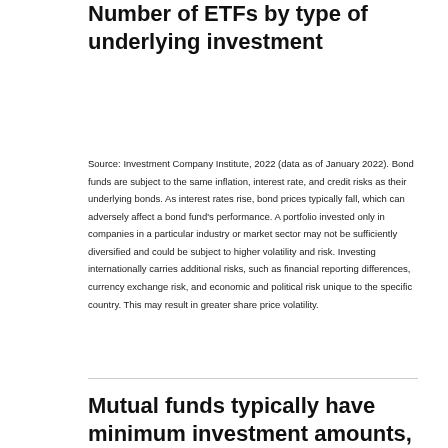Number of ETFs by type of underlying investment
Source: Investment Company Institute, 2022 (data as of January 2022). Bond funds are subject to the same inflation, interest rate, and credit risks as their underlying bonds. As interest rates rise, bond prices typically fall, which can adversely affect a bond fund's performance. A portfolio invested only in companies in a particular industry or market sector may not be sufficiently diversified and could be subject to higher volatility and risk. Investing internationally carries additional risks, such as financial reporting differences, currency exchange risk, and economic and political risk unique to the specific country. This may result in greater share price volatility.
Mutual funds typically have minimum investment amounts, but you can generally invest small amounts after the initial...